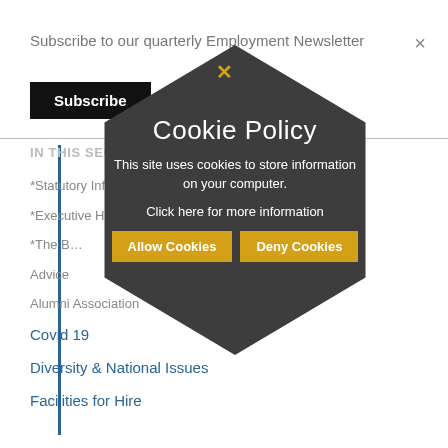Subscribe to our quarterly Employment Newsletter
Subscribe
IN THIS SECTION
*Statutory Information
*Executive Headteacher
*The B...
Advice
Alumni Association
Covid 19
Diversity & National Issues
Facilities for Hire
[Figure (screenshot): Cookie policy popup dialog in hexagon/diamond shape on dark grey background with 'Cookie Policy' title, body text, and Allow/Deny Cookies buttons in gold color]
Cookie Policy
This site uses cookies to store information on your computer.
Click here for more information
Allow Cookies
Deny Cookies